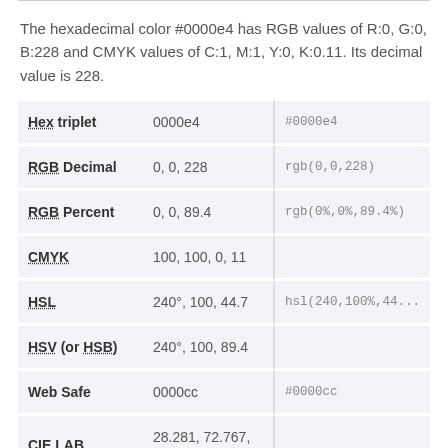The hexadecimal color #0000e4 has RGB values of R:0, G:0, B:228 and CMYK values of C:1, M:1, Y:0, K:0.11. Its decimal value is 228.
| Property | Value | Code |
| --- | --- | --- |
| Hex triplet | 0000e4 | #0000e4 |
| RGB Decimal | 0, 0, 228 | rgb(0,0,228) |
| RGB Percent | 0, 0, 89.4 | rgb(0%,0%,89.4%) |
| CMYK | 100, 100, 0, 11 |  |
| HSL | 240°, 100, 44.7 | hsl(240,100%,44... |
| HSV (or HSB) | 240°, 100, 89.4 |  |
| Web Safe | 0000cc | #0000cc |
| CIE LAB | 28.281, 72.767, -99.114 |  |